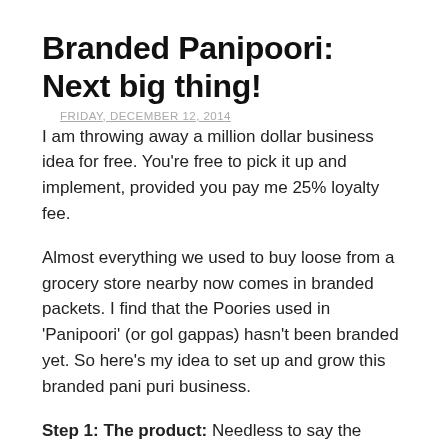Branded Panipoori: Next big thing!
FRIDAY, DECEMBER 12, 2014
I am throwing away a million dollar business idea for free. You're free to pick it up and implement, provided you pay me 25% loyalty fee.
Almost everything we used to buy loose from a grocery store nearby now comes in branded packets. I find that the Poories used in 'Panipoori' (or gol gappas) hasn't been branded yet. So here's my idea to set up and grow this branded pani puri business.
Step 1: The product: Needless to say the branded panipuri will be attractively packed. While you can get a puri for 50 paise each, the branded Pani puri will of course be priced 20 times higher to factor for branding...